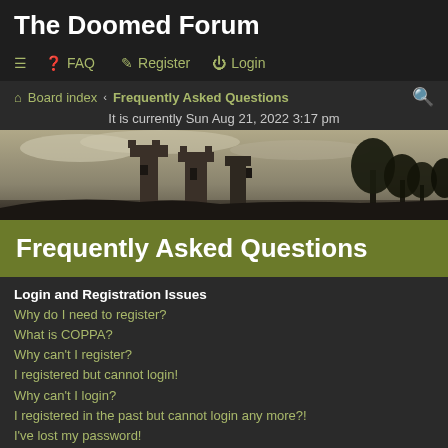The Doomed Forum
≡  ❓ FAQ    ✎ Register  ⏻ Login
Board index ‹ Frequently Asked Questions | It is currently Sun Aug 21, 2022 3:17 pm
[Figure (photo): Sepia-toned panoramic photo of ruined castle or gothic stone building silhouette against an overcast sky with trees on the right.]
Frequently Asked Questions
Login and Registration Issues
Why do I need to register?
What is COPPA?
Why can't I register?
I registered but cannot login!
Why can't I login?
I registered in the past but cannot login any more?!
I've lost my password!
Why do I get logged off automatically?
What does the "Delete cookies" do?